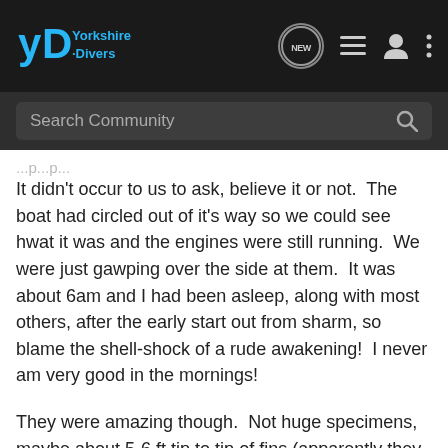[Figure (screenshot): Yorkshire Divers community forum navigation bar with logo, NEW chat bubble icon, list icon, user icon, and three-dot menu]
[Figure (screenshot): Dark search bar with 'Search Community' placeholder text and magnifying glass icon]
It didn't occur to us to ask, believe it or not.  The boat had circled out of it's way so we could see hwat it was and the engines were still running.  We were just gawping over the side at them.  It was about 6am and I had been asleep, along with most others, after the early start out from sharm, so blame the shell-shock of a rude awakening!  I never am very good in the mornings!
They were amazing though.  Not huge specimens, maybe about 5-6 ft tip to tip of fins (apparently they grow much bigger) and so slow and rolling on the surface.
We were very lucky with our sightings that week.